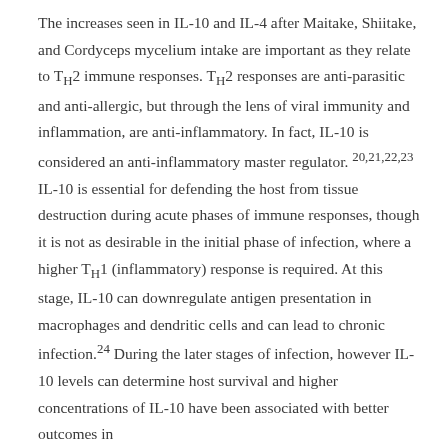The increases seen in IL-10 and IL-4 after Maitake, Shiitake, and Cordyceps mycelium intake are important as they relate to T_H2 immune responses. T_H2 responses are anti-parasitic and anti-allergic, but through the lens of viral immunity and inflammation, are anti-inflammatory. In fact, IL-10 is considered an anti-inflammatory master regulator. 20,21,22,23 IL-10 is essential for defending the host from tissue destruction during acute phases of immune responses, though it is not as desirable in the initial phase of infection, where a higher T_H1 (inflammatory) response is required. At this stage, IL-10 can downregulate antigen presentation in macrophages and dendritic cells and can lead to chronic infection.24 During the later stages of infection, however IL-10 levels can determine host survival and higher concentrations of IL-10 have been associated with better outcomes in patients with extreme and critically compromised...25